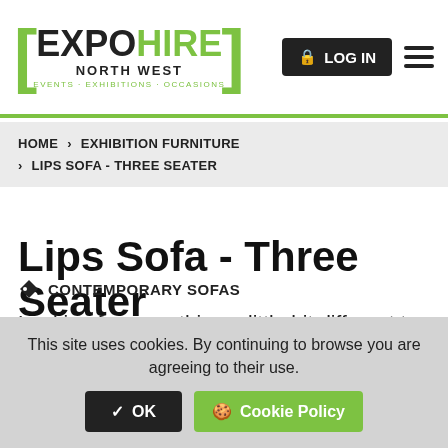EXPO HIRE NORTH WEST — EVENTS · EXHIBITIONS · OCCASIONS
HOME › EXHIBITION FURNITURE › LIPS SOFA - THREE SEATER
Lips Sofa - Three Seater
CONTEMPORARY SOFAS
Looking for something a little bit different to sit on? These lips sofas for hire are both beautiful and a great talking point.
This site uses cookies. By continuing to browse you are agreeing to their use.